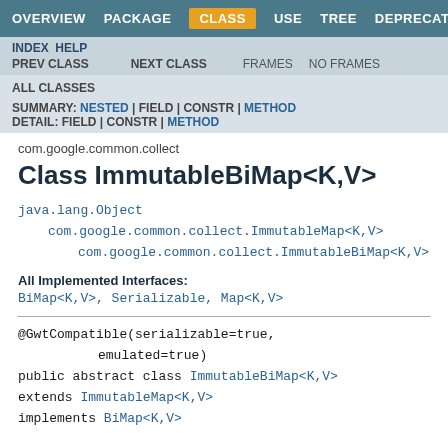OVERVIEW  PACKAGE  CLASS  USE  TREE  DEPRECATED
INDEX  HELP  PREV CLASS  NEXT CLASS  FRAMES  NO FRAMES  ALL CLASSES
SUMMARY: NESTED | FIELD | CONSTR | METHOD  DETAIL: FIELD | CONSTR | METHOD
com.google.common.collect
Class ImmutableBiMap<K,V>
java.lang.Object
    com.google.common.collect.ImmutableMap<K,V>
        com.google.common.collect.ImmutableBiMap<K,V>
All Implemented Interfaces:
BiMap<K,V>, Serializable, Map<K,V>
@GwtCompatible(serializable=true,
                emulated=true)
public abstract class ImmutableBiMap<K,V>
extends ImmutableMap<K,V>
implements BiMap<K,V>